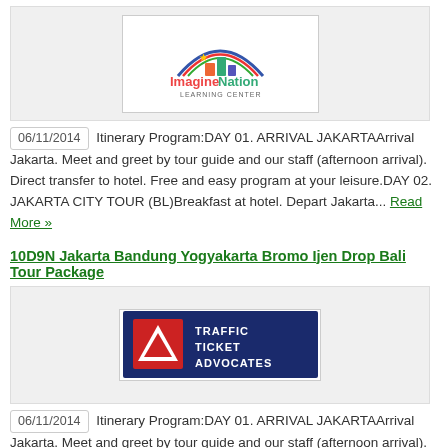[Figure (logo): ImagineNation Learning Center logo with colorful building/puzzle icon and text]
06/11/2014 Itinerary Program:DAY 01. ARRIVAL JAKARTAArrival Jakarta. Meet and greet by tour guide and our staff (afternoon arrival). Direct transfer to hotel. Free and easy program at your leisure.DAY 02. JAKARTA CITY TOUR (BL)Breakfast at hotel. Depart Jakarta... Read More »
10D9N Jakarta Bandung Yogyakarta Bromo Ijen Drop Bali Tour Package
[Figure (logo): Traffic Ticket Advocates logo with red and blue triangle/diamond shape and text]
06/11/2014 Itinerary Program:DAY 01. ARRIVAL JAKARTAArrival Jakarta. Meet and greet by tour guide and our staff (afternoon arrival). Direct transfer to hotel. Free and easy program at your leisure.DAY 02. JAKARTA CITY TOUR (BL)Breakfast at hotel. Depart